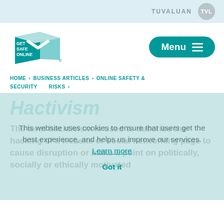TUVALUAN TVL
[Figure (logo): Get Safe Online logo — a 3D teal cube with white chevron and text GET SAFE ONLINE]
Menu
HOME › BUSINESS ARTICLES › ONLINE SAFETY & SECURITY RISKS ›
Hactivism
This website uses cookies to ensure that users get the best experience, and helps us improve our services. Learn more  Got it
The term hacktivism is used to describe the hacking of a website or social networking page to cause disruption or make a point on politically, socially or ethically motivated